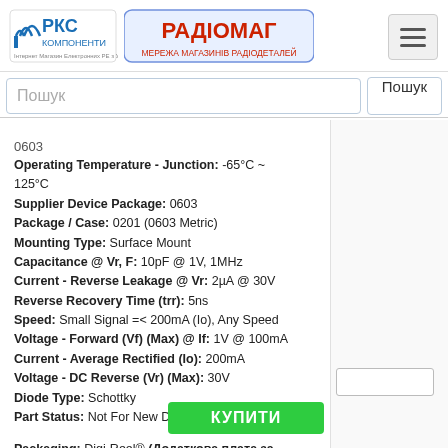РКС КОМПОНЕНТИ | РАДІОМАГ — МЕРЕЖА МАГАЗИНІВ РАДІОДЕТАЛЕЙ
Пошук
0603
Operating Temperature - Junction: -65°C ~ 125°C
Supplier Device Package: 0603
Package / Case: 0201 (0603 Metric)
Mounting Type: Surface Mount
Capacitance @ Vr, F: 10pF @ 1V, 1MHz
Current - Reverse Leakage @ Vr: 2µA @ 30V
Reverse Recovery Time (trr): 5ns
Speed: Small Signal =< 200mA (Io), Any Speed
Voltage - Forward (Vf) (Max) @ If: 1V @ 100mA
Current - Average Rectified (Io): 200mA
Voltage - DC Reverse (Vr) (Max): 30V
Diode Type: Schottky
Part Status: Not For New Designs
Packaging: Digi-Reel® (Додаткова плата за котушку в розмірі $7)
на замовлення 17278 шт 🚚
термін постачання 14-21 дні (днів)
на замовлення 60652 шт - ціна та термін постачання